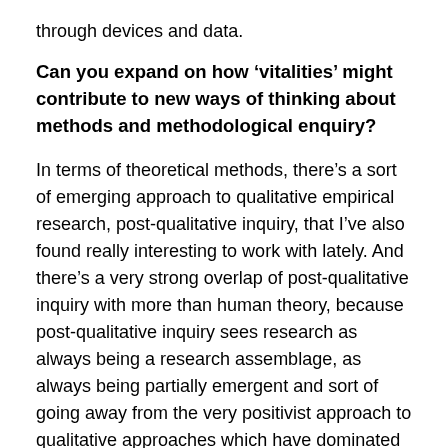through devices and data.
Can you expand on how ‘vitalities’ might contribute to new ways of thinking about methods and methodological enquiry?
In terms of theoretical methods, there’s a sort of emerging approach to qualitative empirical research, post-qualitative inquiry, that I’ve also found really interesting to work with lately. And there’s a very strong overlap of post-qualitative inquiry with more than human theory, because post-qualitative inquiry sees research as always being a research assemblage, as always being partially emergent and sort of going away from the very positivist approach to qualitative approaches which have dominated a lot of health related qualitative enquiry of late. Every type of research is always a research assemblage: the researcher